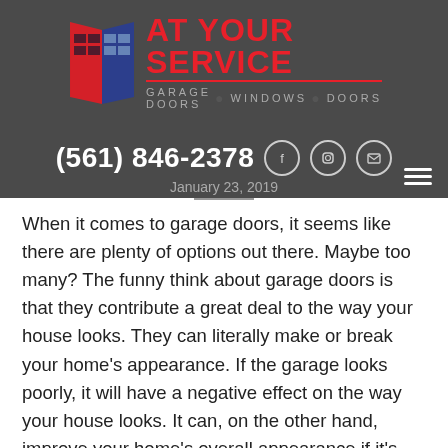[Figure (logo): At Your Service Garage Doors Windows Doors logo with stylized door icon in red and blue]
(561) 846-2378  January 23, 2019
When it comes to garage doors, it seems like there are plenty of options out there. Maybe too many? The funny think about garage doors is that they contribute a great deal to the way your house looks. They can literally make or break your home's appearance. If the garage looks poorly, it will have a negative effect on the way your house looks. It can, on the other hand, improve your home's overall appearance if it's done properly. Maybe you're looking to give your home a new and improved appearance. Perhaps you've been thinking about installing a new garage door. With all of the options